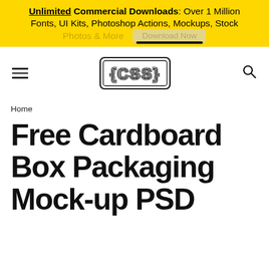Unlimited Commercial Downloads: Over 1 Million Fonts, UI Kits, Photoshop Actions, Mockups, Stock Photos & More  Download Now
[Figure (logo): CSS logo with curly braces {CSS} in outlined style, navbar with hamburger menu and search icon]
Home
Free Cardboard Box Packaging Mock-up PSD